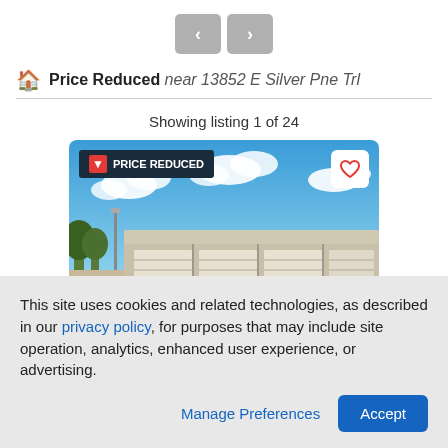[Figure (screenshot): Navigation back and forward arrow buttons (< and >) rendered as gray rounded rectangles]
Price Reduced near 13852 E Silver Pne Trl
Showing listing 1 of 24
[Figure (photo): Real estate listing photo of a storage or garage building with several white roll-up doors under a blue sky with white clouds. A 'PRICE REDUCED' badge appears in the top-left corner and a heart/favorite icon in the top-right corner.]
This site uses cookies and related technologies, as described in our privacy policy, for purposes that may include site operation, analytics, enhanced user experience, or advertising.
Manage Preferences
Accept